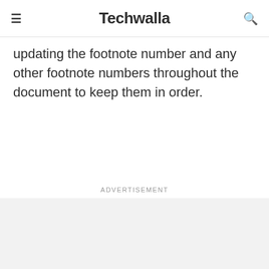Techwalla
updating the footnote number and any other footnote numbers throughout the document to keep them in order.
Advertisement